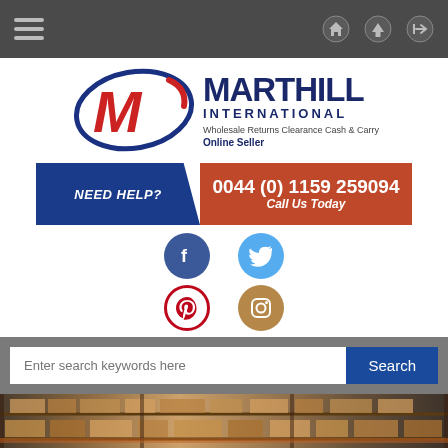Navigation bar with hamburger menu and icons
[Figure (logo): Marthill International logo with large red M and blue swoosh, text: MARTHILL INTERNATIONAL, Wholesale Returns Clearance Cash & Carry, Online Seller]
NEED HELP? 0044 (0) 1159 259094 Call Us Today
[Figure (infographic): Social media icons: Facebook (blue circle), Twitter (light blue circle), Pinterest (red circle), Instagram (brown circle)]
Enter search keywords here
[Figure (photo): Warehouse shelves with brown cardboard boxes stacked on metal racking]
TESTIMONIALS